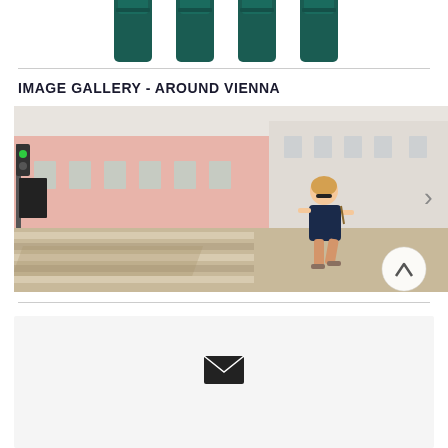[Figure (photo): Partial view of product bottles (teal/dark green caps) at top of page, cropped]
IMAGE GALLERY - AROUND VIENNA
[Figure (photo): Woman in navy blue off-shoulder dress and sandals crossing a zebra crossing/crosswalk in Vienna. Pink and white classical European building in background. Traffic light visible on left. Navigation arrow on right side. Scroll-up button in lower right corner.]
[Figure (screenshot): Partial bottom card area with email/envelope icon (white envelope on dark background)]